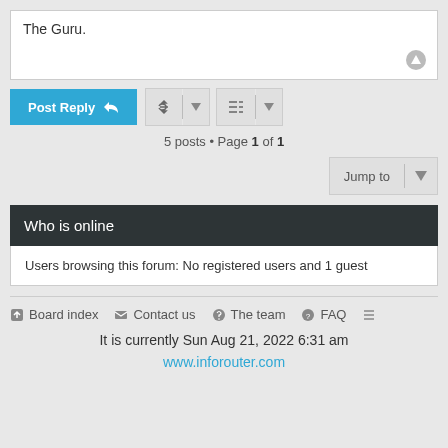The Guru.
5 posts • Page 1 of 1
Who is online
Users browsing this forum: No registered users and 1 guest
Board index  Contact us  The team  FAQ
It is currently Sun Aug 21, 2022 6:31 am
www.inforouter.com